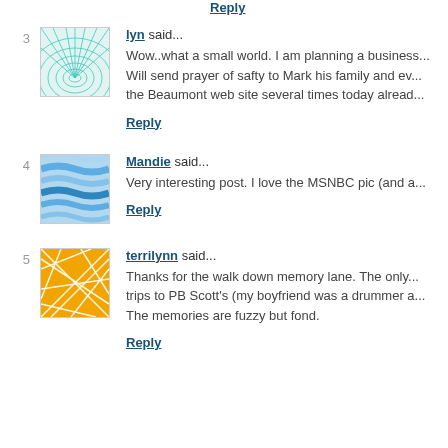Reply
3
[Figure (illustration): Avatar image with teal/green concentric grid pattern radiating from center]
lyn said...
Wow..what a small world. I am planning a business... Will send prayer of safty to Mark his family and ev... the Beaumont web site several times today alread...
Reply
4
[Figure (illustration): Avatar image with blue wavy horizontal lines pattern]
Mandie said...
Very interesting post. I love the MSNBC pic (and a...
Reply
5
[Figure (illustration): Avatar image with orange/yellow background and white geometric line pattern]
terrilynn said...
Thanks for the walk down memory lane. The only... trips to PB Scott's (my boyfriend was a drummer a... The memories are fuzzy but fond.
Reply